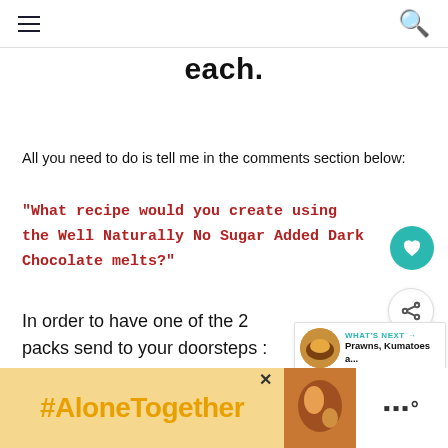each.
All you need to do is tell me in the comments section below:
"What recipe would you create using the Well Naturally No Sugar Added Dark Chocolate melts?"
In order to have one of the 2 packs send to your doorsteps :
You MUST be an Australian residents